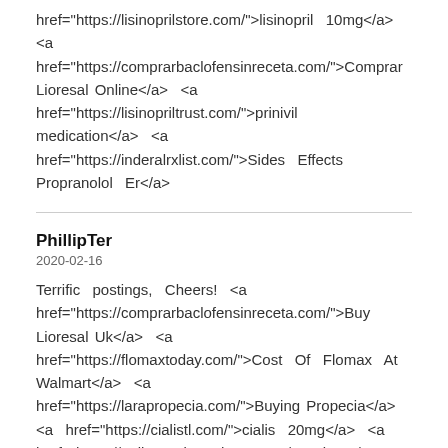href="https://lisinoprilstore.com/">lisinopril 10mg</a> <a href="https://comprarbaclofensinreceta.com/">Comprar Lioresal Online</a> <a href="https://lisinopriltrust.com/">prinivil medication</a> <a href="https://inderalrxlist.com/">Sides Effects Propranolol Er</a>
PhillipTer
2020-02-16
Terrific postings, Cheers! <a href="https://comprarbaclofensinreceta.com/">Buy Lioresal Uk</a> <a href="https://flomaxtoday.com/">Cost Of Flomax At Walmart</a> <a href="https://larapropecia.com/">Buying Propecia</a> <a href="https://cialistl.com/">cialis 20mg</a> <a href="https://online-retin-a-cheap.com/">retin-a</a>
IsmaelSpisy
2020-02-15